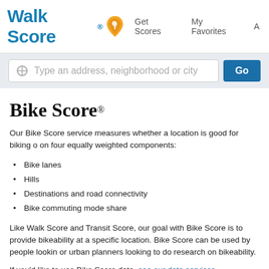Walk Score® | Get Scores | My Favorites | A
Type an address, neighborhood or city
Bike Score®
Our Bike Score service measures whether a location is good for biking on four equally weighted components:
Bike lanes
Hills
Destinations and road connectivity
Bike commuting mode share
Like Walk Score and Transit Score, our goal with Bike Score is to provide bikeability at a specific location. Bike Score can be used by people looking or urban planners looking to do research on bikeability.
If you'd like to use Bike Score data, see our data services.
| Bike Score | Description |
| --- | --- |
| 90-100 | Biker's Paradise |